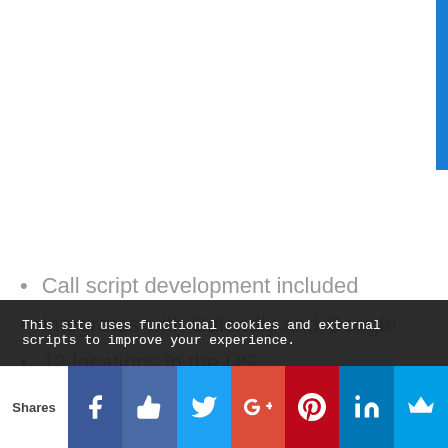Call script development included
Integrates with Calendly and Google
12 locations in the US
This site uses functional cookies and external scripts to improve your experience.
Shares